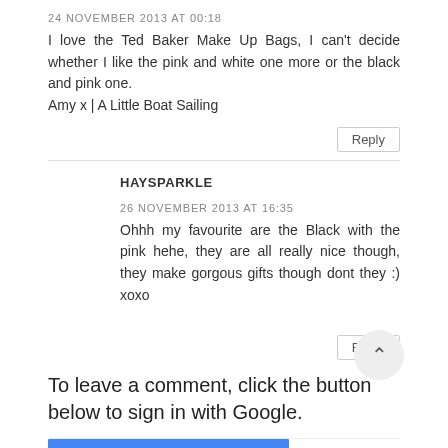24 NOVEMBER 2013 AT 00:18
I love the Ted Baker Make Up Bags, I can't decide whether I like the pink and white one more or the black and pink one.
Amy x | A Little Boat Sailing
Reply
HAYSPARKLE
26 NOVEMBER 2013 AT 16:35
Ohhh my favourite are the Black with the pink hehe, they are all really nice though, they make gorgous gifts though dont they :) xoxo
Reply
To leave a comment, click the button below to sign in with Google.
SIGN IN WITH GOOGLE
Thank you so much for taking the time to look at my little blog!!!! Reading...